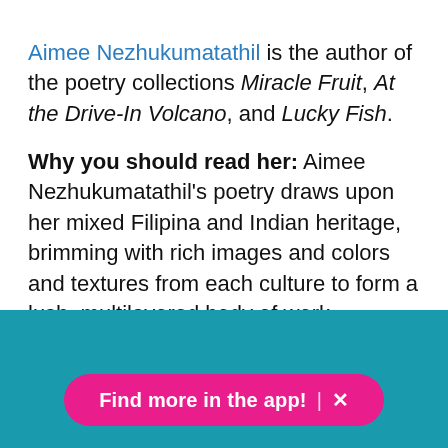Aimee Nezhukumatathil is the author of the poetry collections Miracle Fruit, At the Drive-In Volcano, and Lucky Fish.
Why you should read her: Aimee Nezhukumatathil's poetry draws upon her mixed Filipina and Indian heritage, brimming with rich images and colors and textures from each culture to form a lush, multilayered body of work.
Find more in the app! X